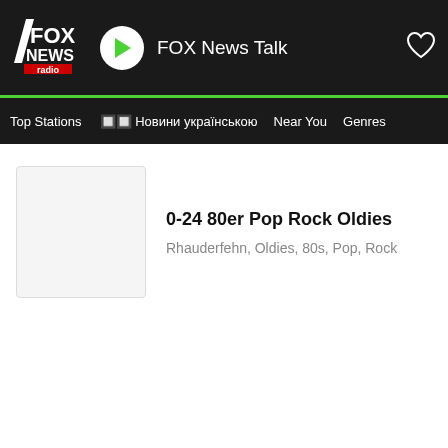FOX News Talk
Top Stations  🔲🔲 Новини українською  Near You  Genres
[Figure (screenshot): Blank white station thumbnail image placeholder]
0-24 80er Pop Rock Oldies
Rhauderfehn, Oldies, 80s, Pop, Rock